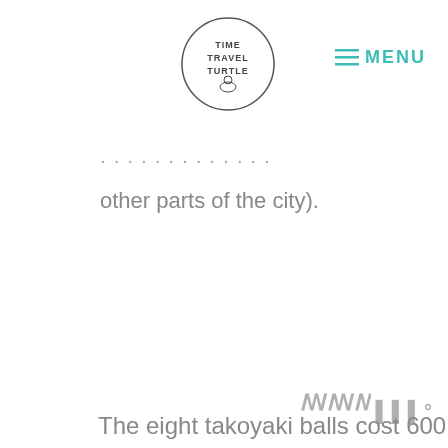TIME TRAVEL TURTLE — MENU
other parts of the city).
[Figure (logo): Watermark logo — stylized text or brand mark in light grey]
The eight takoyaki balls cost 600 yen